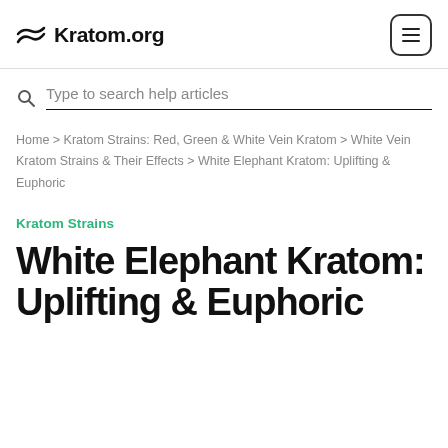Kratom.org
Type to search help articles
Home > Kratom Strains: Red, Green & White Vein Kratom > White Vein Kratom Strains & Their Effects > White Elephant Kratom: Uplifting & Euphoric
Kratom Strains
White Elephant Kratom: Uplifting & Euphoric